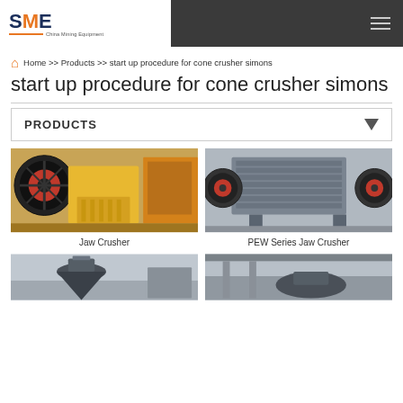SME – China Mining Equipment
Home >> Products >> start up procedure for cone crusher simons
start up procedure for cone crusher simons
PRODUCTS
[Figure (photo): Yellow jaw crusher machine in a workshop setting]
Jaw Crusher
[Figure (photo): PEW Series Jaw Crusher – grey heavy industrial crusher with red-rimmed flywheels]
PEW Series Jaw Crusher
[Figure (photo): Partial view of a cone crusher in a factory]
[Figure (photo): Partial view of another crusher machine in a factory]